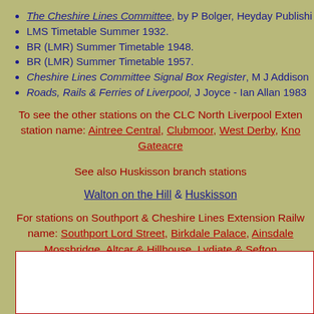The Cheshire Lines Committee, by P Bolger, Heyday Publishi
LMS Timetable Summer 1932.
BR (LMR) Summer Timetable 1948.
BR (LMR) Summer Timetable 1957.
Cheshire Lines Committee Signal Box Register, M J Addison
Roads, Rails & Ferries of Liverpool, J Joyce - Ian Allan 1983
To see the other stations on the CLC North Liverpool Exten station name: Aintree Central, Clubmoor, West Derby, Kno Gateacre
See also Huskisson branch stations
Walton on the Hill & Huskisson
For stations on Southport & Cheshire Lines Extension Railw name: Southport Lord Street, Birkdale Palace, Ainsdale Mossbridge, Altcar & Hillhouse, Lydiate & Sefton